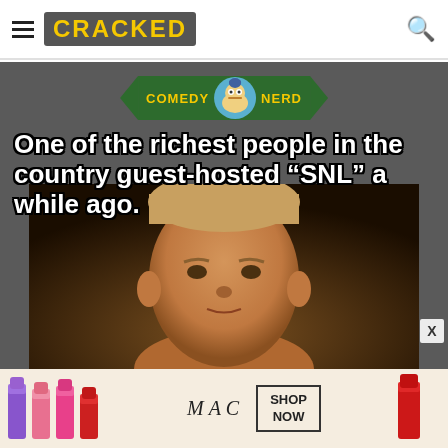CRACKED
[Figure (screenshot): Comedy Nerd branded article thumbnail showing headline 'One of the richest people in the country guest-hosted "SNL" a while ago.' over a dark background with a man's face photo, on the Cracked website]
[Figure (photo): MAC cosmetics advertisement banner showing lipsticks with MAC logo and SHOP NOW button]